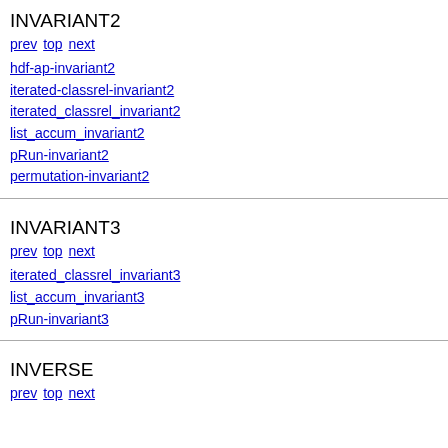INVARIANT2
prev top next
hdf-ap-invariant2
iterated-classrel-invariant2
iterated_classrel_invariant2
list_accum_invariant2
pRun-invariant2
permutation-invariant2
INVARIANT3
prev top next
iterated_classrel_invariant3
list_accum_invariant3
pRun-invariant3
INVERSE
prev top next